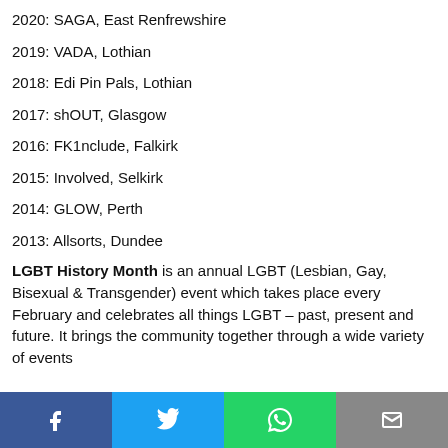2020: SAGA, East Renfrewshire
2019: VADA, Lothian
2018: Edi Pin Pals, Lothian
2017: shOUT, Glasgow
2016: FK1nclude, Falkirk
2015: Involved, Selkirk
2014: GLOW, Perth
2013: Allsorts, Dundee
LGBT History Month is an annual LGBT (Lesbian, Gay, Bisexual & Transgender) event which takes place every February and celebrates all things LGBT – past, present and future. It brings the community together through a wide variety of events